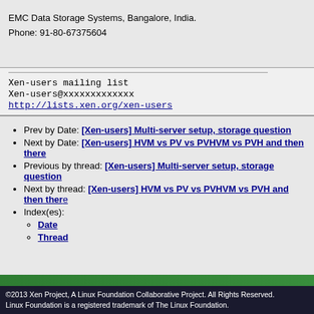EMC Data Storage Systems, Bangalore, India.
Phone: 91-80-67375604
Xen-users mailing list
Xen-users@xxxxxxxxxxxxx
http://lists.xen.org/xen-users
Prev by Date: [Xen-users] Multi-server setup, storage question
Next by Date: [Xen-users] HVM vs PV vs PVHVM vs PVH and then there
Previous by thread: [Xen-users] Multi-server setup, storage question
Next by thread: [Xen-users] HVM vs PV vs PVHVM vs PVH and then there
Index(es): Date, Thread
©2013 Xen Project, A Linux Foundation Collaborative Project. All Rights Reserved. Linux Foundation is a registered trademark of The Linux Foundation.